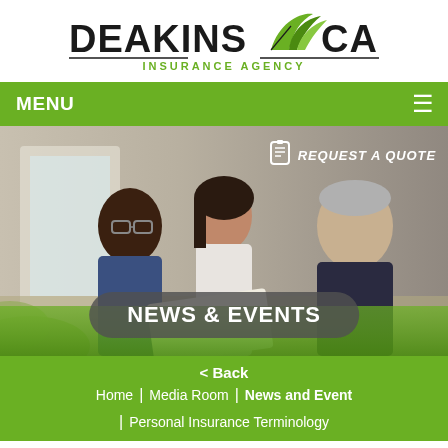[Figure (logo): Deakins Carroll Insurance Agency logo with stylized leaf/wing graphic between the two name words, and 'INSURANCE AGENCY' in green below]
MENU
[Figure (photo): Three people (two young adults and an older man) sitting together at a table, looking at documents, in a bright interior setting]
REQUEST A QUOTE
NEWS & EVENTS
< Back
Home | Media Room | News and Event | Personal Insurance Terminology
PERSONAL INSURANCE